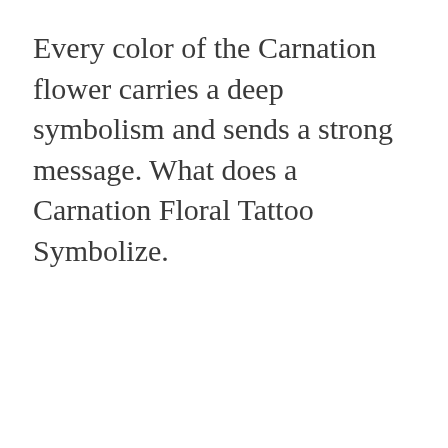Every color of the Carnation flower carries a deep symbolism and sends a strong message. What does a Carnation Floral Tattoo Symbolize.